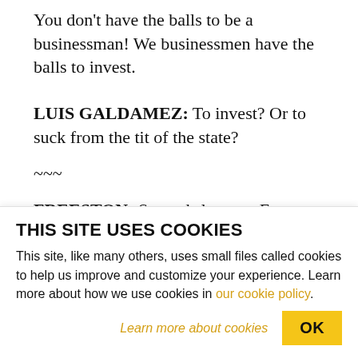You don't have the balls to be a businessman! We businessmen have the balls to invest.
LUIS GALDAMEZ: To invest? Or to suck from the tit of the state?
~~~
FREESTON: Seconds later, as Facusse walks away, journalist Oscar Calona from corporate radio giant HRN approaches him and whispers the following:
THIS SITE USES COOKIES
This site, like many others, uses small files called cookies to help us improve and customize your experience. Learn more about how we use cookies in our cookie policy.
Learn more about cookies
OK